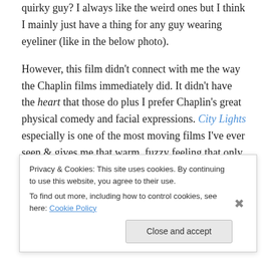quirky guy? I always like the weird ones but I think I mainly just have a thing for any guy wearing eyeliner (like in the below photo).
However, this film didn't connect with me the way the Chaplin films immediately did. It didn't have the heart that those do plus I prefer Chaplin's great physical comedy and facial expressions. City Lights especially is one of the most moving films I've ever seen & gives me that warm, fuzzy feeling that only the very best cinematic masterpieces can achieve. But The General's technical achievements (is that the right word for 1926?!) are
Privacy & Cookies: This site uses cookies. By continuing to use this website, you agree to their use.
To find out more, including how to control cookies, see here: Cookie Policy